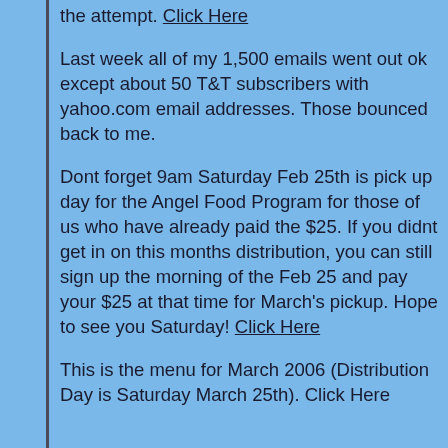the attempt. Click Here
Last week all of my 1,500 emails went out ok except about 50 T&T subscribers with yahoo.com email addresses. Those bounced back to me.
Dont forget 9am Saturday Feb 25th is pick up day for the Angel Food Program for those of us who have already paid the $25. If you didnt get in on this months distribution, you can still sign up the morning of the Feb 25 and pay your $25 at that time for March's pickup. Hope to see you Saturday! Click Here
This is the menu for March 2006 (Distribution Day is Saturday March 25th). Click Here